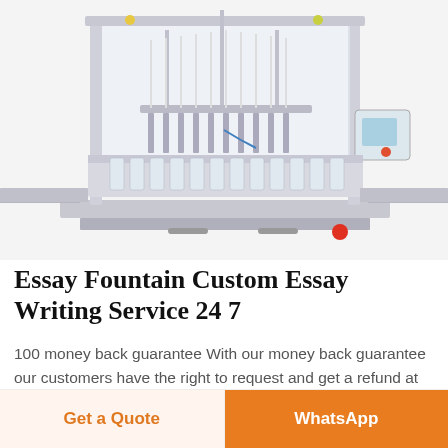[Figure (photo): Industrial liquid filling machine with stainless steel frame, multiple filling nozzles, conveyor belt, and a touchscreen control panel on the right side.]
Essay Fountain Custom Essay Writing Service 24 7
100 money back guarantee With our money back guarantee our customers have the right to request and get a refund at any stage of their order in case something goes wrong
Get a Quote
WhatsApp